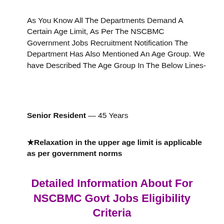As You Know All The Departments Demand A Certain Age Limit, As Per The NSCBMC Government Jobs Recruitment Notification The Department Has Also Mentioned An Age Group. We have Described The Age Group In The Below Lines-
Senior Resident — 45 Years
★Relaxation in the upper age limit is applicable as per government norms
Detailed Information About For NSCBMC Govt Jobs Eligibility Criteria